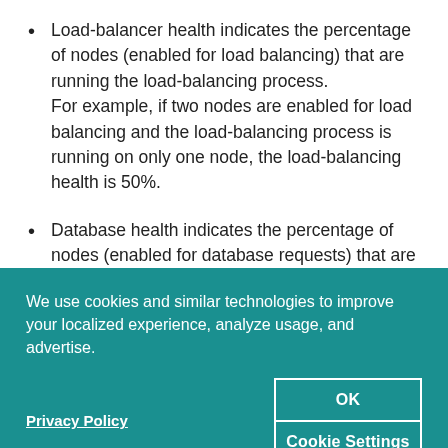Load-balancer health indicates the percentage of nodes (enabled for load balancing) that are running the load-balancing process. For example, if two nodes are enabled for load balancing and the load-balancing process is running on only one node, the load-balancing health is 50%.
Database health indicates the percentage of nodes (enabled for database requests) that are running the database process.
We use cookies and similar technologies to improve your localized experience, analyze usage, and advertise.
Privacy Policy
OK
Cookie Settings